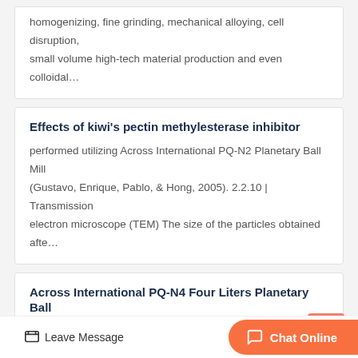homogenizing, fine grinding, mechanical alloying, cell disruption, small volume high-tech material production and even colloidal…
Effects of kiwi's pectin methylesterase inhibitor
performed utilizing Across International PQ-N2 Planetary Ball Mill (Gustavo, Enrique, Pablo, & Hong, 2005). 2.2.10 | Transmission electron microscope (TEM) The size of the particles obtained afte…
Across International PQ-N4 Four Liters Planetary Ball
PQ-N4 series planetary ball mills may be used for mixing, homogenizing, fine grinding, mechanical alloying, cell disruption, small volume high-tech material production and even colloidal…
Across International PQ-N2 Pla… Ball Mill